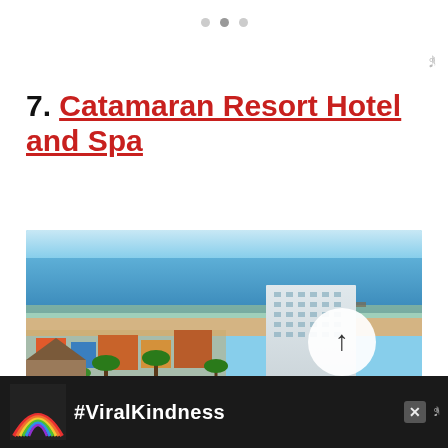• • •
7. Catamaran Resort Hotel and Spa
[Figure (photo): Aerial view of Catamaran Resort Hotel and Spa in San Diego, showing tall hotel building, palm trees, green lawns, beach, pier, and ocean in the background. A circular scroll-up button overlays the image.]
[Figure (photo): Advertisement banner at the bottom showing a rainbow illustration and the text #ViralKindness on a dark background.]